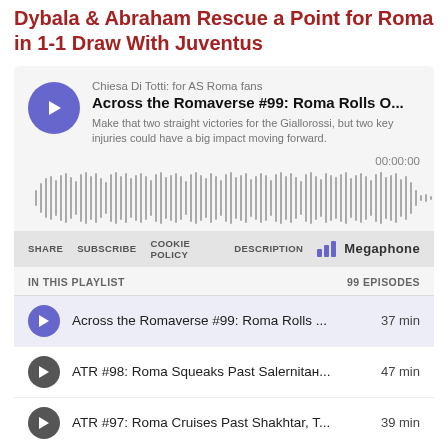Dybala & Abraham Rescue a Point for Roma in 1-1 Draw With Juventus
[Figure (screenshot): Megaphone podcast player embed showing 'Across the Romaverse #99: Roma Rolls O...' episode from 'Chiesa Di Totti: for AS Roma fans' podcast with waveform visualization, timestamp 00:00:00, controls (SHARE, SUBSCRIBE, COOKIE POLICY, DESCRIPTION, Megaphone logo), and a playlist section showing 99 EPISODES with three episode rows listed.]
Chiesa Di Totti: for AS Roma fans
Across the Romaverse #99: Roma Rolls O...
Make that two straight victories for the Giallorossi, but two key injuries could have a big impact moving forward.
00:00:00
IN THIS PLAYLIST
99 EPISODES
Across the Romaverse #99: Roma Rolls ... 37 min
ATR #98: Roma Squeaks Past Salernitан... 47 min
ATR #97: Roma Cruises Past Shakhtar, T...39 min